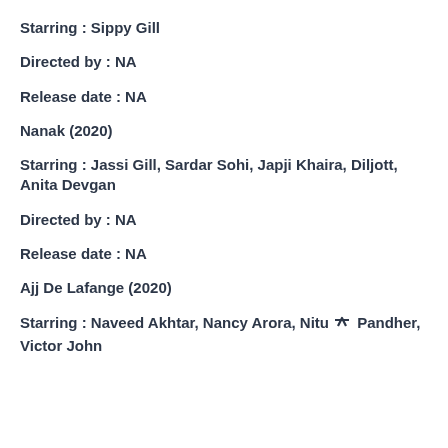Starring : Sippy Gill
Directed by : NA
Release date : NA
Nanak (2020)
Starring : Jassi Gill, Sardar Sohi, Japji Khaira, Diljott, Anita Devgan
Directed by : NA
Release date : NA
Ajj De Lafange (2020)
Starring : Naveed Akhtar, Nancy Arora, Nitu Pandher, Victor John